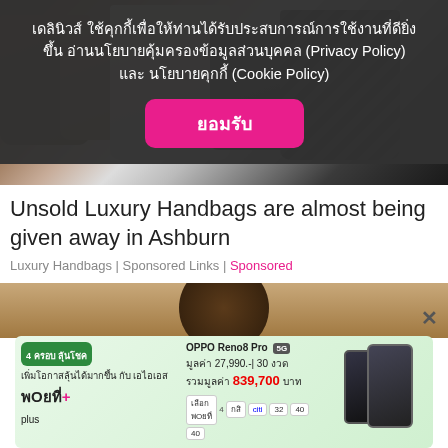เดลินิวส์ ใช้คุกกี้เพื่อให้ท่านได้รับประสบการณ์การใช้งานที่ดียิ่งขึ้น อ่านนโยบายคุ้มครองข้อมูลส่วนบุคคล (Privacy Policy) และ นโยบายคุกกี้ (Cookie Policy)
ยอมรับ
[Figure (photo): Collection of luxury handbags including Louis Vuitton monogram, Damier checkered, and black quilted Chanel-style bags arranged together]
Unsold Luxury Handbags are almost being given away in Ashburn
Luxury Handbags | Sponsored Links | Sponsored
[Figure (photo): Partial view of another image below the article, showing brown/tan tones]
[Figure (screenshot): Advertisement banner for AIS WOW+ promotion featuring OPPO Reno8 Pro with price 27,990 baht, 30 installments, total value 839,700 baht]